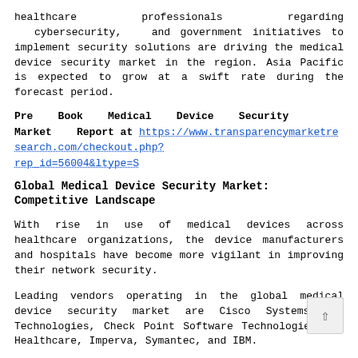healthcare professionals regarding cybersecurity, and government initiatives to implement security solutions are driving the medical device security market in the region. Asia Pacific is expected to grow at a swift rate during the forecast period.
Pre Book Medical Device Security Market Report at https://www.transparencymarketresearch.com/checkout.php?rep_id=56004&ltype=S
Global Medical Device Security Market: Competitive Landscape
With rise in use of medical devices across healthcare organizations, the device manufacturers and hospitals have become more vigilant in improving their network security.
Leading vendors operating in the global medical device security market are Cisco Systems, CA Technologies, Check Point Software Technologies, GE Healthcare, Imperva, Symantec, and IBM.